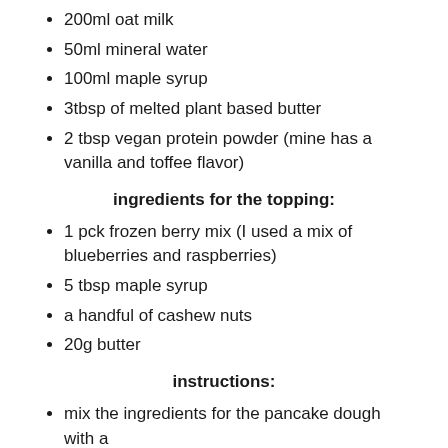200ml oat milk
50ml mineral water
100ml maple syrup
3tbsp of melted plant based butter
2 tbsp vegan protein powder (mine has a vanilla and toffee flavor)
ingredients for the topping:
1 pck frozen berry mix (I used a mix of blueberries and raspberries)
5 tbsp maple syrup
a handful of cashew nuts
20g butter
instructions:
mix the ingredients for the pancake dough with a